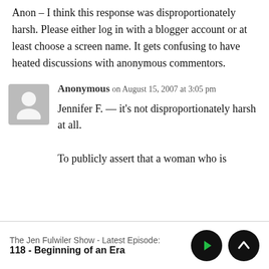Anon – I think this response was disproportionately harsh. Please either log in with a blogger account or at least choose a screen name. It gets confusing to have heated discussions with anonymous commentors.
Anonymous on August 15, 2007 at 3:05 pm
Jennifer F. — it's not disproportionately harsh at all.
To publicly assert that a woman who is
The Jen Fulwiler Show - Latest Episode:
118 - Beginning of an Era